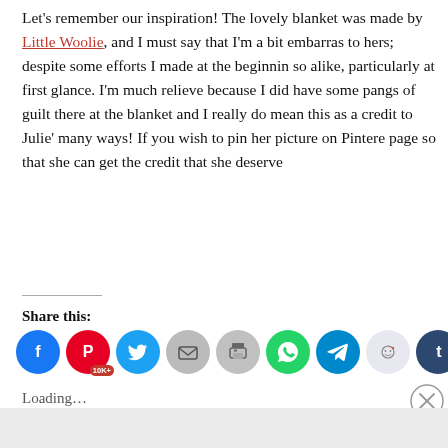Let's remember our inspiration!  The lovely blanket was made by Little Woolie, and I must say that I'm a bit embarrassed to hers; despite some efforts I made at the beginning so alike, particularly at first glance.  I'm much relieved because I did have some pangs of guilt there at the blanket and I really do mean this as a credit to Julie's many ways!  If you wish to pin her picture on Pinterest page so that she can get the credit that she deserves
Share this:
[Figure (screenshot): Social share buttons: Facebook, Pinterest (10K+), Twitter, Email, Print, WhatsApp, Telegram, Reddit, Tumblr]
Loading...
Advertisements
[Figure (screenshot): Advertisement banner: Your Journal for life - Day One app]